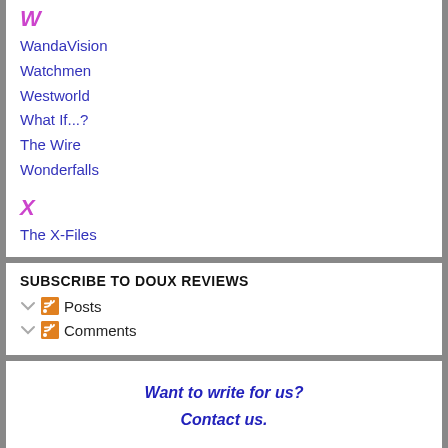W
WandaVision
Watchmen
Westworld
What If...?
The Wire
Wonderfalls
X
The X-Files
SUBSCRIBE TO DOUX REVIEWS
Posts
Comments
Want to write for us?
Contact us.
SEARCH DOUX REVIEWS